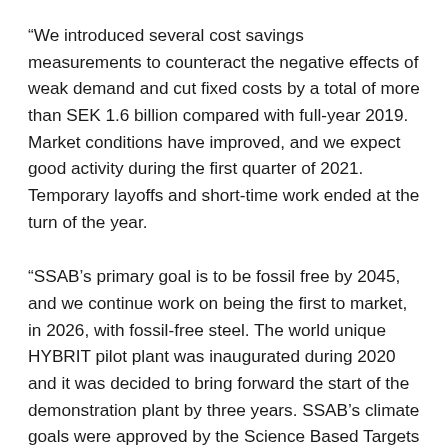“We introduced several cost savings measurements to counteract the negative effects of weak demand and cut fixed costs by a total of more than SEK 1.6 billion compared with full-year 2019. Market conditions have improved, and we expect good activity during the first quarter of 2021. Temporary layoffs and short-time work ended at the turn of the year.
“SSAB’s primary goal is to be fossil free by 2045, and we continue work on being the first to market, in 2026, with fossil-free steel. The world unique HYBRIT pilot plant was inaugurated during 2020 and it was decided to bring forward the start of the demonstration plant by three years. SSAB’s climate goals were approved by the Science Based Targets initiative during the fourth quarter.